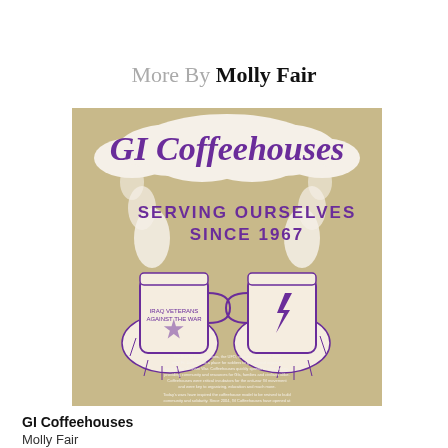More By Molly Fair
[Figure (illustration): Book cover illustration for 'GI Coffeehouses' by Molly Fair. Tan/khaki background with white cloud shapes. Large purple script text reads 'GI Coffeehouses'. Below in purple block letters: 'SERVING OURSELVES SINCE 1967'. Two illustrated hands hold coffee mugs clinking together. One mug reads 'IRAQ VETERANS AGAINST THE WAR', the other has a lightning bolt symbol. Small body text at the bottom of the poster.]
GI Coffeehouses
Molly Fair